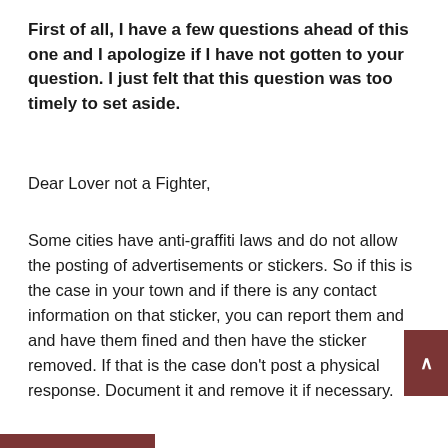First of all, I have a few questions ahead of this one and I apologize if I have not gotten to your question. I just felt that this question was too timely to set aside.
Dear Lover not a Fighter,
Some cities have anti-graffiti laws and do not allow the posting of advertisements or stickers. So if this is the case in your town and if there is any contact information on that sticker, you can report them and and have them fined and then have the sticker removed. If that is the case don't post a physical response. Document it and remove it if necessary.